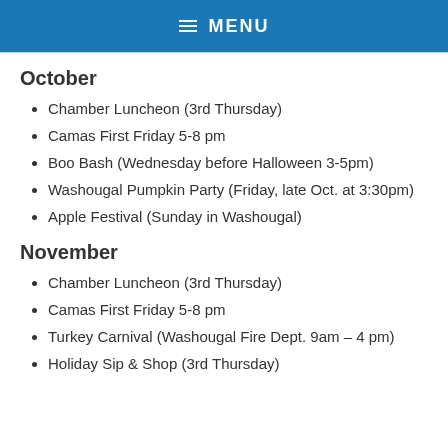≡ MENU
October
Chamber Luncheon (3rd Thursday)
Camas First Friday 5-8 pm
Boo Bash (Wednesday before Halloween 3-5pm)
Washougal Pumpkin Party (Friday, late Oct. at 3:30pm)
Apple Festival (Sunday in Washougal)
November
Chamber Luncheon (3rd Thursday)
Camas First Friday 5-8 pm
Turkey Carnival (Washougal Fire Dept. 9am – 4 pm)
Holiday Sip & Shop (3rd Thursday)